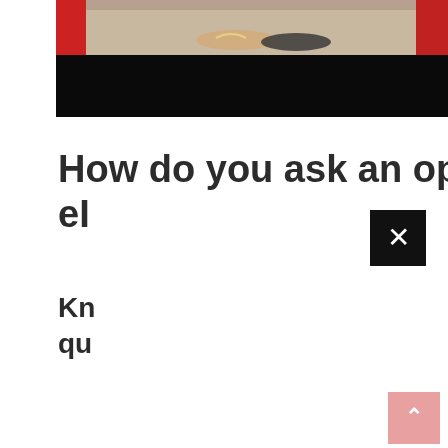[Figure (photo): A photo showing feet/legs near red chairs, partially obscured by a black bar at the bottom]
How do you ask an open el
Kn
qu